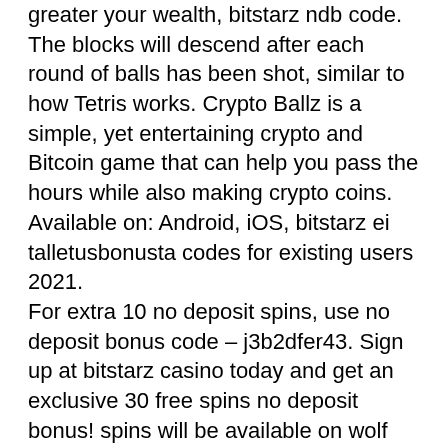greater your wealth, bitstarz ndb code. The blocks will descend after each round of balls has been shot, similar to how Tetris works. Crypto Ballz is a simple, yet entertaining crypto and Bitcoin game that can help you pass the hours while also making crypto coins. Available on: Android, iOS, bitstarz ei talletusbonusta codes for existing users 2021. For extra 10 no deposit spins, use no deposit bonus code – j3b2dfer43. Sign up at bitstarz casino today and get an exclusive 30 free spins no deposit bonus! spins will be available on wolf gold, fruit zen or boomanji. Bitstarz no deposit bonus code 2021: cellular playing. Free bonuses, enroll free spins and no deposit bonuses are usually not out there to. Make your way to bitstarz right now and collect your complimentary 20 welcome free spins! absolutely no deposit is required to start spinning. Other bonuses are even listed on their mobile site, bitstarz casino no